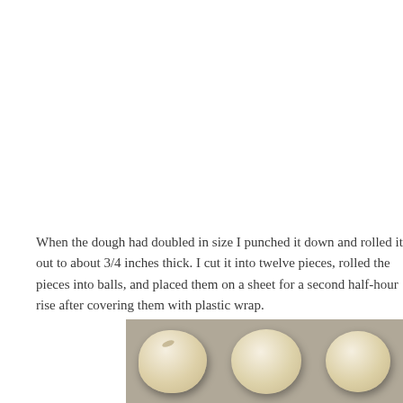When the dough had doubled in size I punched it down and rolled it out to about 3/4 inches thick. I cut it into twelve pieces, rolled the pieces into balls, and placed them on a sheet for a second half-hour rise after covering them with plastic wrap.
[Figure (photo): Three round dough balls resting on a surface, photographed before baking. The balls are pale yellow/cream colored and smooth, sitting on what appears to be a baking sheet with a gray background.]